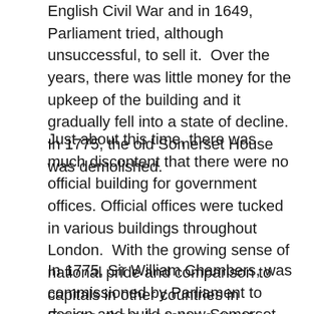English Civil War and in 1649, Parliament tried, although unsuccessful, to sell it.  Over the years, there was little money for the upkeep of the building and it gradually fell into a state of decline.  In 1775, the old Somerset House was demolished.
Just about this time, there was much discontent that there were no official building for government offices.  Official offices were tucked in various buildings throughout London.  With the growing sense of national pride and comparison to capitals in other countries in Europe, there became a great desire for a national building that would house various government agencies.
In 1775, Sir William Chambers, was commissioned by Parliament to design and build a new Somerset House.  As with most construction, there were delays due to the